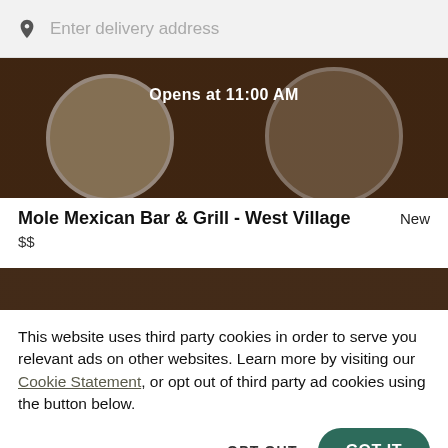Enter delivery address
[Figure (photo): Restaurant food photo showing two white plates with Mexican food on a dark wooden table, partially overlaid with dark tint. Text 'Opens at 11:00 AM' overlaid in white.]
Mole Mexican Bar & Grill - West Village
New
$$
[Figure (photo): Partial restaurant food photo strip showing a top-cropped view of food dishes.]
This website uses third party cookies in order to serve you relevant ads on other websites. Learn more by visiting our Cookie Statement, or opt out of third party ad cookies using the button below.
OPT OUT
GOT IT